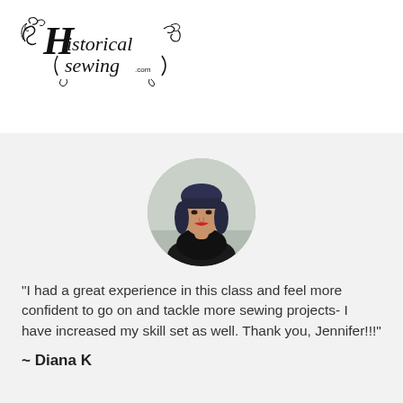[Figure (logo): Historical Sewing logo with ornate script lettering]
[Figure (photo): Circular portrait photo of a woman with dark hair with blue tint, wearing dark clothing, red lipstick]
"I had a great experience in this class and feel more confident to go on and tackle more sewing projects- I have increased my skill set as well. Thank you, Jennifer!!!"
~ Diana K